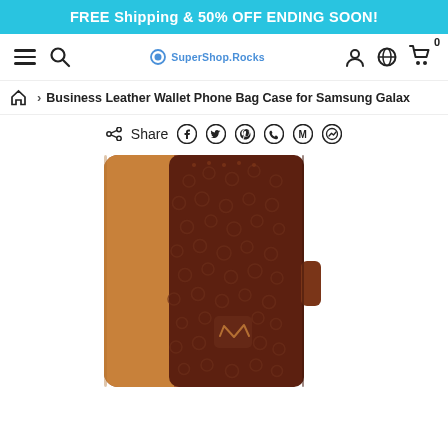FREE Shipping & 50% OFF ENDING SOON!
[Figure (screenshot): Navigation bar with hamburger menu, search icon, SuperShop.Rocks logo, user account icon, globe icon, and shopping cart icon with 0 badge]
Business Leather Wallet Phone Bag Case for Samsung Galax...
Share [social icons: Facebook, Twitter, Pinterest, WhatsApp, Gmail, Messenger]
[Figure (photo): Brown two-tone leather wallet phone case with ostrich-skin texture pattern on the right panel and smooth tan leather on the left panel, showing a magnetic clasp on the right side]